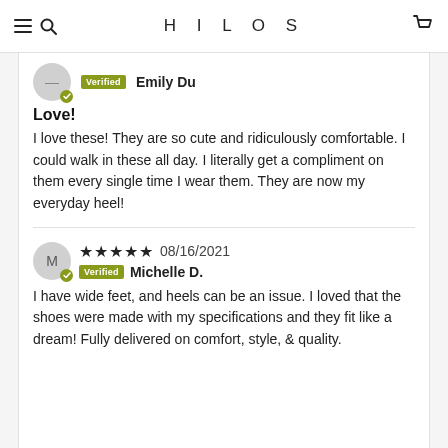HILOS
Verified Emily Du
Love!
I love these! They are so cute and ridiculously comfortable. I could walk in these all day. I literally get a compliment on them every single time I wear them. They are now my everyday heel!
★★★★★ 08/16/2021
Verified Michelle D.
I have wide feet, and heels can be an issue. I loved that the shoes were made with my specifications and they fit like a dream! Fully delivered on comfort, style, & quality.